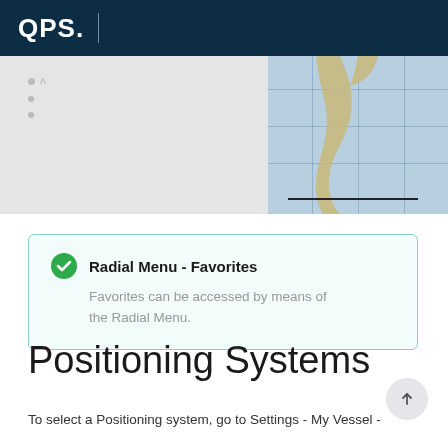QPS.
[Figure (screenshot): Split screenshot showing a grey sidebar panel on the left with small dot/icon indicators, and a nautical chart map on the right showing the southern tip of South America (Patagonia/Tierra del Fuego) on a blue ocean background with grid lines and a scale bar.]
Radial Menu - Favorites
Favorites can be accessed by means of the Radial Menu.
Positioning Systems
To select a Positioning system, go to Settings - My Vessel -